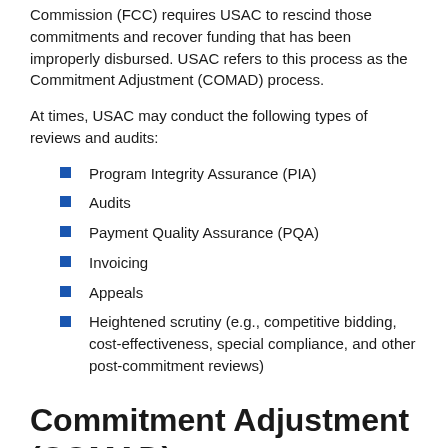Commission (FCC) requires USAC to rescind those commitments and recover funding that has been improperly disbursed. USAC refers to this process as the Commitment Adjustment (COMAD) process.
At times, USAC may conduct the following types of reviews and audits:
Program Integrity Assurance (PIA)
Audits
Payment Quality Assurance (PQA)
Invoicing
Appeals
Heightened scrutiny (e.g., competitive bidding, cost-effectiveness, special compliance, and other post-commitment reviews)
Commitment Adjustment (COMAD)